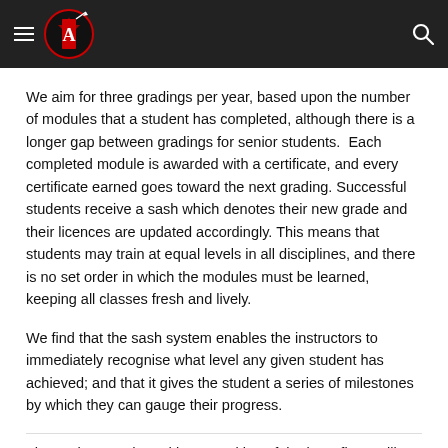[Logo header bar with hamburger menu and search icon]
We aim for three gradings per year, based upon the number of modules that a student has completed, although there is a longer gap between gradings for senior students.  Each completed module is awarded with a certificate, and every certificate earned goes toward the next grading. Successful students receive a sash which denotes their new grade and their licences are updated accordingly. This means that students may train at equal levels in all disciplines, and there is no set order in which the modules must be learned, keeping all classes fresh and lively.
We find that the sash system enables the instructors to immediately recognise what level any given student has achieved; and that it gives the student a series of milestones by which they can gauge their progress.
The sash was adopted in recognition of the bare-fist pugilists